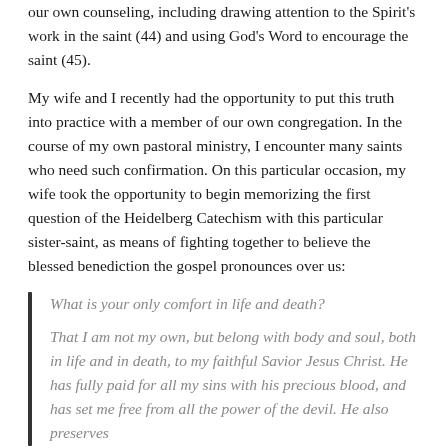our own counseling, including drawing attention to the Spirit's work in the saint (44) and using God's Word to encourage the saint (45).
My wife and I recently had the opportunity to put this truth into practice with a member of our own congregation. In the course of my own pastoral ministry, I encounter many saints who need such confirmation. On this particular occasion, my wife took the opportunity to begin memorizing the first question of the Heidelberg Catechism with this particular sister-saint, as means of fighting together to believe the blessed benediction the gospel pronounces over us:
What is your only comfort in life and death?

That I am not my own, but belong with body and soul, both in life and in death, to my faithful Savior Jesus Christ. He has fully paid for all my sins with his precious blood, and has set me free from all the power of the devil. He also preserves